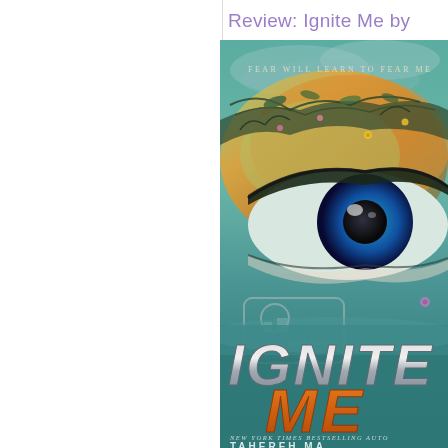Review: Ignite Me by
[Figure (photo): Book cover of 'Ignite Me' by Tahereh Mafi. Cover shows a close-up of a blue eye surrounded by colorful floral and botanical illustrations in orange, green and teal tones. Text reads 'FEAR WILL LEARN TO FEAR ME' at top, 'IGNITE ME' in large silver and orange letters in the lower portion, and 'NEW YORK TIMES BESTSELLING AUTHOR TAHEREH MAFI' at the bottom. Photobucket watermark visible.]